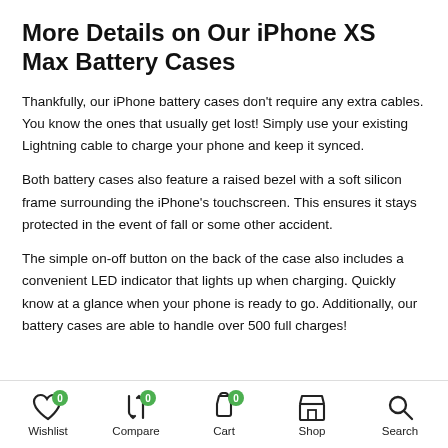More Details on Our iPhone XS Max Battery Cases
Thankfully, our iPhone battery cases don't require any extra cables. You know the ones that usually get lost! Simply use your existing Lightning cable to charge your phone and keep it synced.
Both battery cases also feature a raised bezel with a soft silicon frame surrounding the iPhone's touchscreen. This ensures it stays protected in the event of fall or some other accident.
The simple on-off button on the back of the case also includes a convenient LED indicator that lights up when charging. Quickly know at a glance when your phone is ready to go. Additionally, our battery cases are able to handle over 500 full charges!
Wishlist 0  Compare 0  Cart 0  Shop  Search